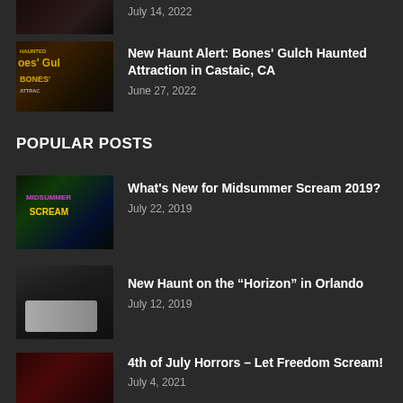[Figure (photo): Partial thumbnail image at top of page (cropped)]
July 14, 2022
[Figure (photo): Thumbnail for Bones' Gulch Haunted Attraction post showing dark haunted attraction signage]
New Haunt Alert: Bones' Gulch Haunted Attraction in Castaic, CA
June 27, 2022
POPULAR POSTS
[Figure (photo): Thumbnail for Midsummer Scream 2019 post showing green haunted scene with bats]
What's New for Midsummer Scream 2019?
July 22, 2019
[Figure (photo): Thumbnail for Horizon haunt post showing a figure]
New Haunt on the “Horizon” in Orlando
July 12, 2019
[Figure (photo): Thumbnail for 4th of July Horrors post]
4th of July Horrors – Let Freedom Scream!
July 4, 2021